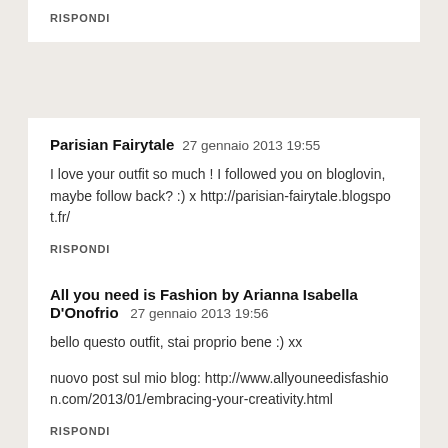RISPONDI
Parisian Fairytale   27 gennaio 2013 19:55
I love your outfit so much ! I followed you on bloglovin, maybe follow back? :) x http://parisian-fairytale.blogspot.fr/
RISPONDI
All you need is Fashion by Arianna Isabella D'Onofrio   27 gennaio 2013 19:56
bello questo outfit, stai proprio bene :) xx
nuovo post sul mio blog: http://www.allyouneedisfashion.com/2013/01/embracing-your-creativity.html
RISPONDI